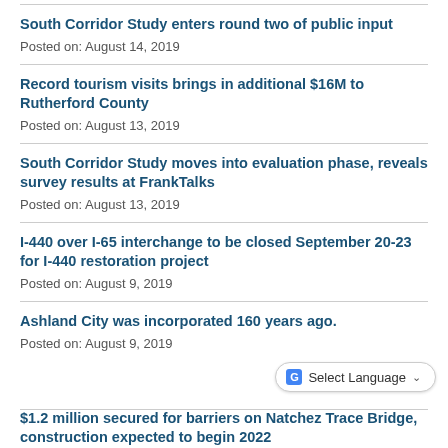South Corridor Study enters round two of public input
Posted on: August 14, 2019
Record tourism visits brings in additional $16M to Rutherford County
Posted on: August 13, 2019
South Corridor Study moves into evaluation phase, reveals survey results at FrankTalks
Posted on: August 13, 2019
I-440 over I-65 interchange to be closed September 20-23 for I-440 restoration project
Posted on: August 9, 2019
Ashland City was incorporated 160 years ago.
Posted on: August 9, 2019
$1.2 million secured for barriers on Natchez Trace Bridge, construction expected to begin 2022